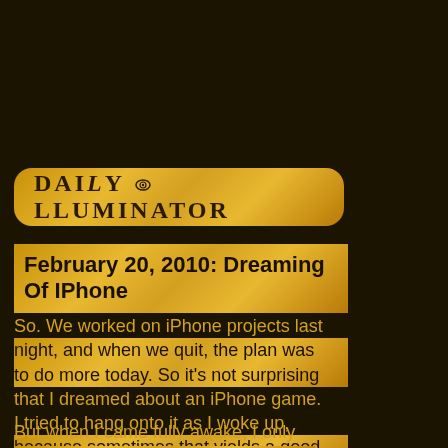DAILY ILLUMINATOR
February 20, 2010: Dreaming Of IPhone
So. We worked on iPhone projects last night, and when we quit, the plan was to do more today. So it's not surprising that I dreamed about an iPhone game. I tried to hang onto it as I woke up, because sometimes that yields a good idea . . .
But when I came fully awake, I only remembered fragments. I was playing